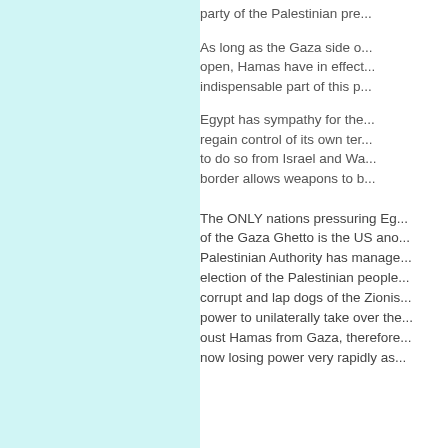party of the Palestinian pre...
As long as the Gaza side o... open, Hamas have in effect... indispensable part of this p...
Egypt has sympathy for the... regain control of its own ter... to do so from Israel and Wa... border allows weapons to b...
The ONLY nations pressuring Eg... of the Gaza Ghetto is the US ano... Palestinian Authority has manage... election of the Palestinian people... corrupt and lap dogs of the Zionis... power to unilaterally take over the... oust Hamas from Gaza, therefore... now losing power very rapidly as...